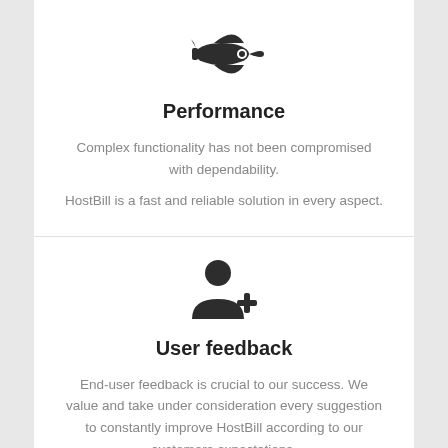[Figure (illustration): Dark silhouette icon of a space shuttle / rocket plane pointing right]
Performance
Complex functionality has not been compromised with dependability.
HostBill is a fast and reliable solution in every aspect.
[Figure (illustration): Dark silhouette icon of a person with a plus sign, representing user addition / feedback]
User feedback
End-user feedback is crucial to our success. We value and take under consideration every suggestion to constantly improve HostBill according to our customers expectations.